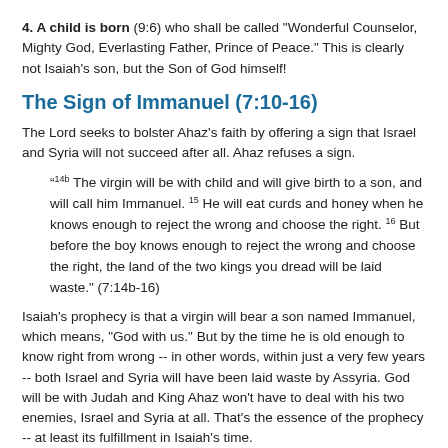4. A child is born (9:6) who shall be called "Wonderful Counselor, Mighty God, Everlasting Father, Prince of Peace." This is clearly not Isaiah's son, but the Son of God himself!
The Sign of Immanuel (7:10-16)
The Lord seeks to bolster Ahaz's faith by offering a sign that Israel and Syria will not succeed after all. Ahaz refuses a sign.
“14b The virgin will be with child and will give birth to a son, and will call him Immanuel. 15 He will eat curds and honey when he knows enough to reject the wrong and choose the right. 16 But before the boy knows enough to reject the wrong and choose the right, the land of the two kings you dread will be laid waste.” (7:14b-16)
Isaiah's prophecy is that a virgin will bear a son named Immanuel, which means, "God with us." But by the time he is old enough to know right from wrong -- in other words, within just a very few years -- both Israel and Syria will have been laid waste by Assyria. God will be with Judah and King Ahaz won't have to deal with his two enemies, Israel and Syria at all. That's the essence of the prophecy -- at least its fulfillment in Isaiah's time.
But since this prophecy is also quoted in Matthew 1:23, it raises several questions.